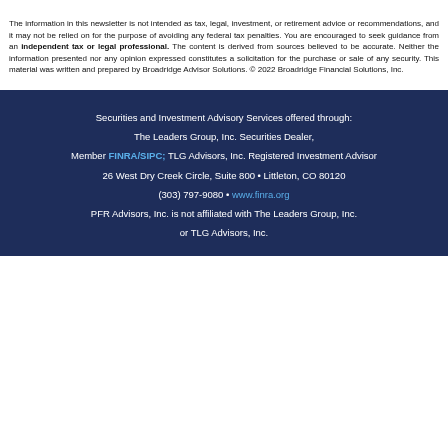The information in this newsletter is not intended as tax, legal, investment, or retirement advice or recommendations, and it may not be relied on for the purpose of avoiding any federal tax penalties. You are encouraged to seek guidance from an independent tax or legal professional. The content is derived from sources believed to be accurate. Neither the information presented nor any opinion expressed constitutes a solicitation for the purchase or sale of any security. This material was written and prepared by Broadridge Advisor Solutions. © 2022 Broadridge Financial Solutions, Inc.
Securities and Investment Advisory Services offered through: The Leaders Group, Inc. Securities Dealer, Member FINRA/SIPC; TLG Advisors, Inc. Registered Investment Advisor 26 West Dry Creek Circle, Suite 800 • Littleton, CO 80120 (303) 797-9080 • www.finra.org PFR Advisors, Inc. is not affiliated with The Leaders Group, Inc. or TLG Advisors, Inc.